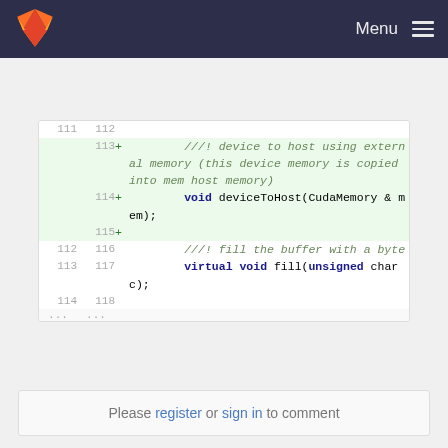Menu
[Figure (screenshot): GitLab code diff view showing added lines 113-115 with C++ comment and deviceToHost function, and unchanged lines 116-118 with fill function]
Please register or sign in to comment